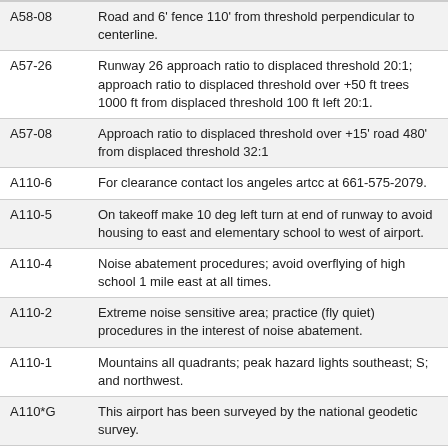| Code | Description |
| --- | --- |
| A58-08 | Road and 6' fence 110' from threshold perpendicular to centerline. |
| A57-26 | Runway 26 approach ratio to displaced threshold 20:1; approach ratio to displaced threshold over +50 ft trees 1000 ft from displaced threshold 100 ft left 20:1. |
| A57-08 | Approach ratio to displaced threshold over +15' road 480' from displaced threshold 32:1 |
| A110-6 | For clearance contact los angeles artcc at 661-575-2079. |
| A110-5 | On takeoff make 10 deg left turn at end of runway to avoid housing to east and elementary school to west of airport. |
| A110-4 | Noise abatement procedures; avoid overflying of high school 1 mile east at all times. |
| A110-2 | Extreme noise sensitive area; practice (fly quiet) procedures in the interest of noise abatement. |
| A110-1 | Mountains all quadrants; peak hazard lights southeast; S; and northwest. |
| A110*G | This airport has been surveyed by the national geodetic survey. |
More FBO and Airport Information
Subscribe to an Fuel Price (Jet A, 100LL) data feed for airports